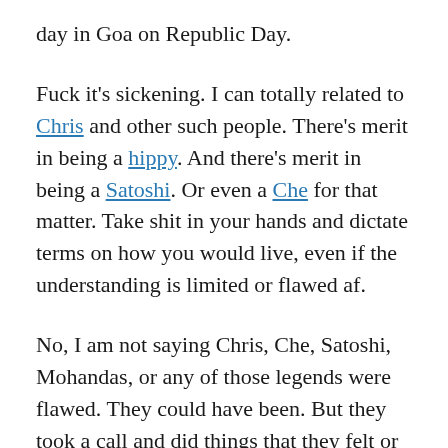day in Goa on Republic Day.
Fuck it's sickening. I can totally related to Chris and other such people. There's merit in being a hippy. And there's merit in being a Satoshi. Or even a Che for that matter. Take shit in your hands and dictate terms on how you would live, even if the understanding is limited or flawed af.
No, I am not saying Chris, Che, Satoshi, Mohandas, or any of those legends were flawed. They could have been. But they took a call and did things that they felt or thought or considered right. Unlike me. I can't even seem to make a living, leave alone thinking